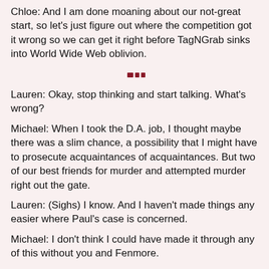Chloe: And I am done moaning about our not-great start, so let's just figure out where the competition got it wrong so we can get it right before TagNGrab sinks into World Wide Web oblivion.
[Figure (illustration): Decorative horizontal divider line with dark red rectangular ornament in the center]
Lauren: Okay, stop thinking and start talking. What's wrong?
Michael: When I took the D.A. job, I thought maybe there was a slim chance, a possibility that I might have to prosecute acquaintances of acquaintances. But two of our best friends for murder and attempted murder right out the gate.
Lauren: (Sighs) I know. And I haven't made things any easier where Paul's case is concerned.
Michael: I don't think I could have made it through any of this without you and Fenmore.
Lauren: Well, at least we've prevented Paul from pleading guilty.
Michael: (Sighs) For the moment.